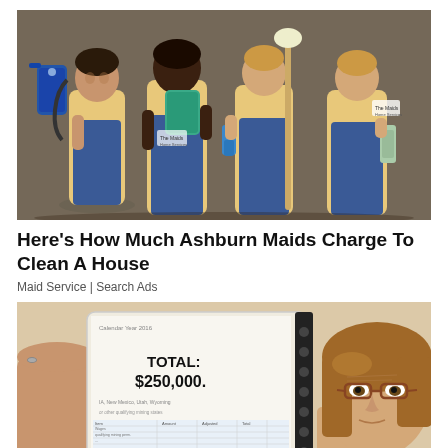[Figure (photo): Four women in yellow polo shirts and blue aprons holding cleaning equipment including a backpack vacuum, mops, and spray bottles, posing together as a maid service team.]
Here's How Much Ashburn Maids Charge To Clean A House
Maid Service | Search Ads
[Figure (photo): A woman with glasses and brown hair holds up a spiral notebook showing 'TOTAL: $250,000' written on it, with what appears to be a financial document visible below.]